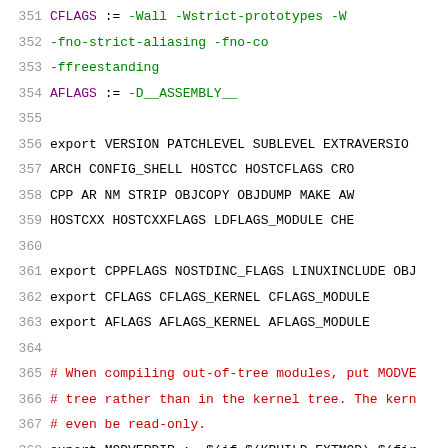351   CFLAGS              := -Wall -Wstrict-prototypes -W...
352                          -fno-strict-aliasing -fno-co...
353                          -ffreestanding
354   AFLAGS              := -D__ASSEMBLY__
355
356   export  VERSION PATCHLEVEL SUBLEVEL EXTRAVERSIO...
357           ARCH CONFIG_SHELL HOSTCC HOSTCFLAGS CRO...
358           CPP AR NM STRIP OBJCOPY OBJDUMP MAKE AW...
359           HOSTCXX HOSTCXXFLAGS LDFLAGS_MODULE CHE...
360
361   export CPPFLAGS NOSTDINC_FLAGS LINUXINCLUDE OBJ...
362   export CFLAGS CFLAGS_KERNEL CFLAGS_MODULE
363   export AFLAGS AFLAGS_KERNEL AFLAGS_MODULE
364
365   # When compiling out-of-tree modules, put MODVE...
366   # tree rather than in the kernel tree. The kern...
367   # even be read-only.
368   export MODVERDIR := $(if $(KBUILD_EXTMOD),$(fir...
369
370   # The temporary file to save gcc -MD generated...
371   # contain a comma